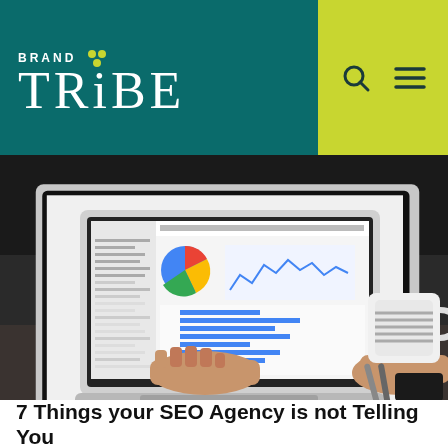[Figure (logo): Brand Tribe logo with teal background and yellow-green navigation bar with search and menu icons]
[Figure (photo): Person typing on a MacBook Air laptop showing Google Analytics dashboard with charts and data, a white coffee mug and pens on the desk beside the laptop]
7 Things your SEO Agency is not Telling You